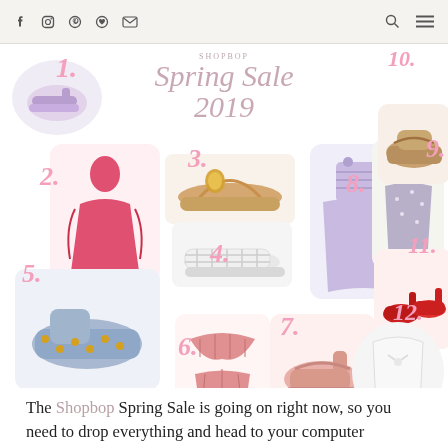Social media icons: Facebook, Instagram, Pinterest, Bloglovin, Email; Search, Menu
[Figure (photo): Shopbop Spring Sale 2019 collage featuring 12 numbered fashion items: shoes, dresses, sandals, swimwear arranged in a circular collage layout on white background with pink script title 'Spring Sale 2019']
The Shopbop Spring Sale is going on right now, so you need to drop everything and head to your computer